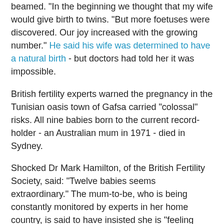beamed. "In the beginning we thought that my wife would give birth to twins. "But more foetuses were discovered. Our joy increased with the growing number." He said his wife was determined to have a natural birth - but doctors had told her it was impossible.
British fertility experts warned the pregnancy in the Tunisian oasis town of Gafsa carried "colossal" risks. All nine babies born to the current record-holder - an Australian mum in 1971 - died in Sydney.
Shocked Dr Mark Hamilton, of the British Fertility Society, said: "Twelve babies seems extraordinary." The mum-to-be, who is being constantly monitored by experts in her home country, is said to have insisted she is "feeling fine".
She was also "looking forward to hugging her six boys and six girls". The wife had sought help after previously suffering the anguish of several miscarriages. It was not clear if she had IVF treatment or an alternative procedure called ovulation induction treatment.
IVF could be...